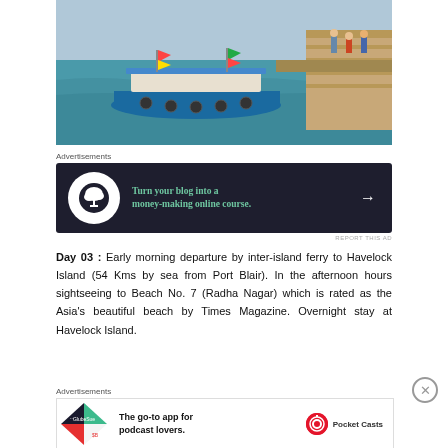[Figure (photo): A tourist ferry boat with colorful decorations docked at a stone pier/quay with turquoise water, people visible on the dock]
Advertisements
[Figure (infographic): Dark advertisement banner: Turn your blog into a money-making online course. with arrow icon on dark navy background]
REPORT THIS AD
Day 03 :  Early morning departure by inter-island ferry to Havelock Island (54 Kms by sea from Port Blair). In the afternoon hours sightseeing to Beach No. 7 (Radha Nagar) which is rated as the Asia's beautiful beach by Times Magazine. Overnight stay at Havelock Island.
Advertisements
[Figure (infographic): Pocket Casts advertisement: The go-to app for podcast lovers. with Pocket Casts logo and colorful diamond app icon]
REPORT THIS AD